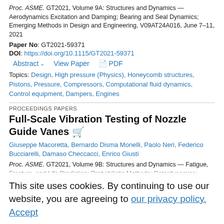Proc. ASME. GT2021, Volume 9A: Structures and Dynamics — Aerodynamics Excitation and Damping; Bearing and Seal Dynamics; Emerging Methods in Design and Engineering, V09AT24A016, June 7–11, 2021
Paper No: GT2021-59371
DOI: https://doi.org/10.1115/GT2021-59371
Abstract  View Paper  PDF
Topics: Design, High pressure (Physics), Honeycomb structures, Pistons, Pressure, Compressors, Computational fluid dynamics, Control equipment, Dampers, Engines
PROCEEDINGS PAPERS
Full-Scale Vibration Testing of Nozzle Guide Vanes
Giuseppe Macoretta, Bernardo Disma Monelli, Paolo Neri, Federico Bucciarelli, Damaso Checcacci, Enrico Giusti
Proc. ASME. GT2021, Volume 9B: Structures and Dynamics — Fatigue, Fracture, and Life Prediction; Probabilistic Methods; Rotordynamics; ...
This site uses cookies. By continuing to use our website, you are agreeing to our privacy policy. Accept